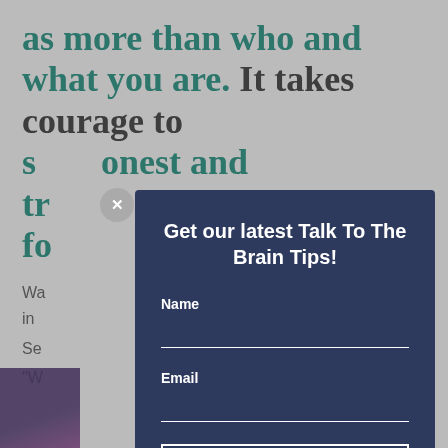as more than who and what you are. It takes courage to s_ honest and tr_ fo_
Wa_ es in_ Se_ "W_
[Figure (screenshot): Modal popup overlay with dark navy background on top of article page. Modal contains title 'Get our latest Talk To The Brain Tips!' with Name and Email form fields and a SIGN UP button. A grey close button (x) appears at top-left of modal.]